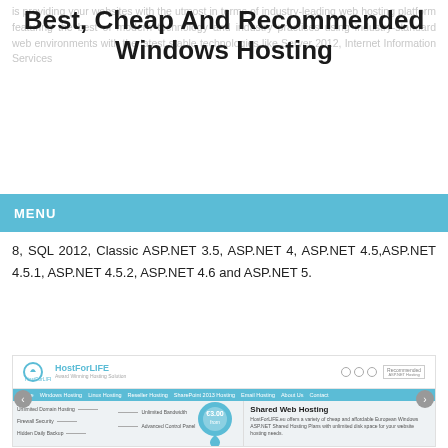is providing your websites with the utmost in terms of industry-leading web hosting platform featuring the best of modern technology and industry practices using industry-standard web environments with the latest stable technologies like Server 2012, Internet Information Services
Best, Cheap And Recommended Windows Hosting
MENU
8, SQL 2012, Classic ASP.NET 3.5, ASP.NET 4, ASP.NET 4.5,ASP.NET 4.5.1, ASP.NET 4.5.2, ASP.NET 4.6 and ASP.NET 5.
[Figure (screenshot): Screenshot of HostForLIFE.eu website showing the logo, navigation bar with links (Home, Windows Hosting, Linux Hosting, Reseller Hosting, SharePoint 2013 Hosting, Email Hosting, About Us, Contact), and a homepage hero section with a location pin showing €3.00/from, feature labels (Unlimited Domain Hosting, Firewall Security, Unlimited Bandwidth, Hidden Daily Backup, Advanced Control Panel), and a Shared Web Hosting section with description text. Left and right navigation arrows visible.]